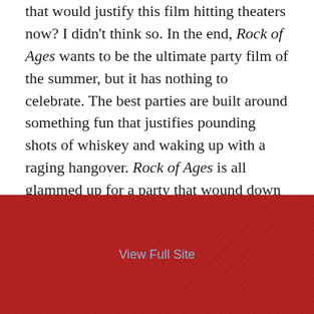that would justify this film hitting theaters now? I didn't think so. In the end, Rock of Ages wants to be the ultimate party film of the summer, but it has nothing to celebrate. The best parties are built around something fun that justifies pounding shots of whiskey and waking up with a raging hangover. Rock of Ages is all glammed up for a party that wound down back in the 90's.
Grade: C-
June 17, 2012
5 Replies
[Figure (other): Red textured background footer with 'View Full Site' link centered]